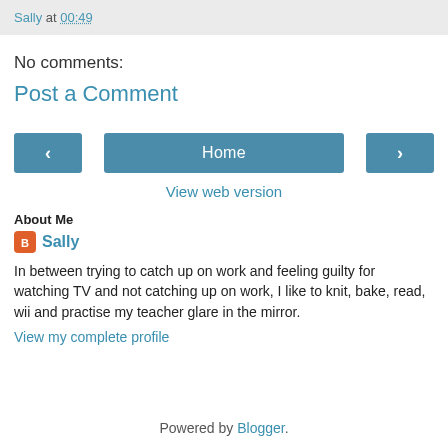Sally at 00:49
No comments:
Post a Comment
‹  Home  ›
View web version
About Me
Sally
In between trying to catch up on work and feeling guilty for watching TV and not catching up on work, I like to knit, bake, read, wii and practise my teacher glare in the mirror.
View my complete profile
Powered by Blogger.